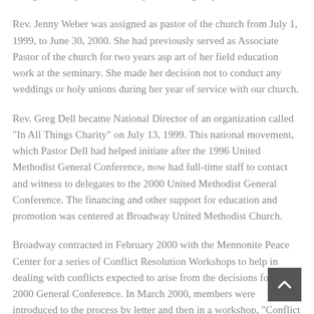changed to suspension for one year, starting July 1, 1999.
Rev. Jenny Weber was assigned as pastor of the church from July 1, 1999, to June 30, 2000. She had previously served as Associate Pastor of the church for two years as part of her field education work at the seminary. She made her decision not to conduct any weddings or holy unions during her year of service with our church.
Rev. Greg Dell became National Director of an organization called "In All Things Charity" on July 13, 1999. This national movement, which Pastor Dell had helped initiate after the 1996 United Methodist General Conference, now had full-time staff to contact and witness to delegates to the 2000 United Methodist General Conference. The financing and other support for education and promotion was centered at Broadway United Methodist Church.
Broadway contracted in February 2000 with the Mennonite Peace Center for a series of Conflict Resolution Workshops to help in dealing with conflicts expected to arise from the decisions for the 2000 General Conference. In March 2000, members were introduced to the process by letter and then in a workshop, "Conflict in the Church." The facilitator, Jackie Lynn, also held smaller group meetings which were helpful in learning how to handle the expected conflict.